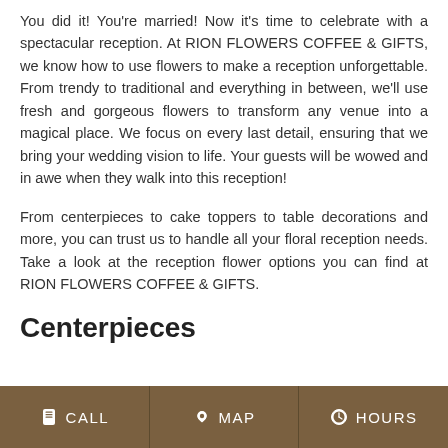You did it! You're married! Now it's time to celebrate with a spectacular reception. At RION FLOWERS COFFEE & GIFTS, we know how to use flowers to make a reception unforgettable. From trendy to traditional and everything in between, we'll use fresh and gorgeous flowers to transform any venue into a magical place. We focus on every last detail, ensuring that we bring your wedding vision to life. Your guests will be wowed and in awe when they walk into this reception!
From centerpieces to cake toppers to table decorations and more, you can trust us to handle all your floral reception needs. Take a look at the reception flower options you can find at RION FLOWERS COFFEE & GIFTS.
Centerpieces
CALL  MAP  HOURS